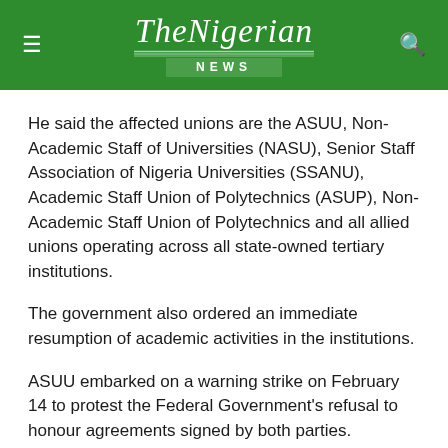TheNigerian NEWS
He said the affected unions are the ASUU, Non-Academic Staff of Universities (NASU), Senior Staff Association of Nigeria Universities (SSANU), Academic Staff Union of Polytechnics (ASUP), Non-Academic Staff Union of Polytechnics and all allied unions operating across all state-owned tertiary institutions.
The government also ordered an immediate resumption of academic activities in the institutions.
ASUU embarked on a warning strike on February 14 to protest the Federal Government's refusal to honour agreements signed by both parties.